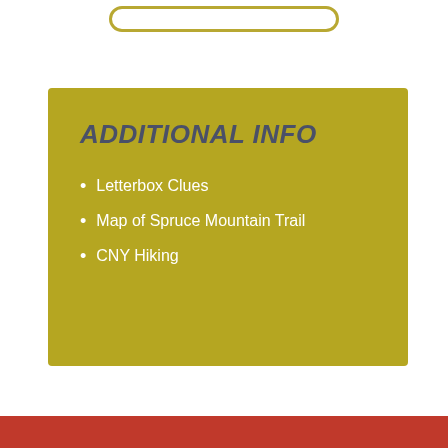[Figure (other): Rounded rectangle outline at top, olive/gold colored]
ADDITIONAL INFO
Letterbox Clues
Map of Spruce Mountain Trail
CNY Hiking
[Figure (other): Red/terracotta horizontal bar at bottom of page]